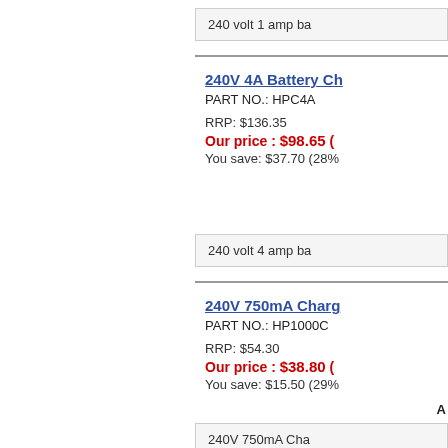240 volt 1 amp ba...
240V 4A Battery Ch...
PART NO.: HPC4A
RRP: $136.35
Our price : $98.65 (
You save: $37.70 (28%...
240 volt 4 amp ba...
240V 750mA Charg...
PART NO.: HP1000C
RRP: $54.30
Our price : $38.80 (
You save: $15.50 (29%...
A
240V 750mA Cha...